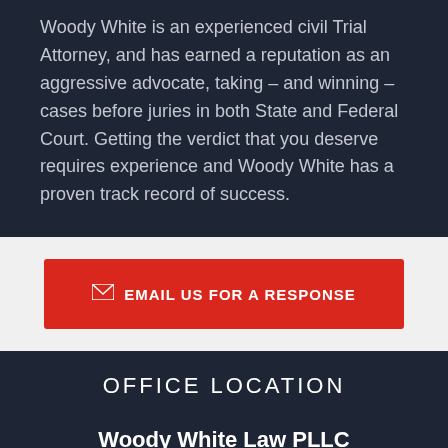Woody White is an experienced civil Trial Attorney, and has earned a reputation as an aggressive advocate, taking – and winning – cases before juries in both State and Federal Court. Getting the verdict that you deserve requires experience and Woody White has a proven track record of success.
EMAIL US FOR A RESPONSE
OFFICE LOCATION
Woody White Law PLLC
2004 Eastwood Road
Suite 201